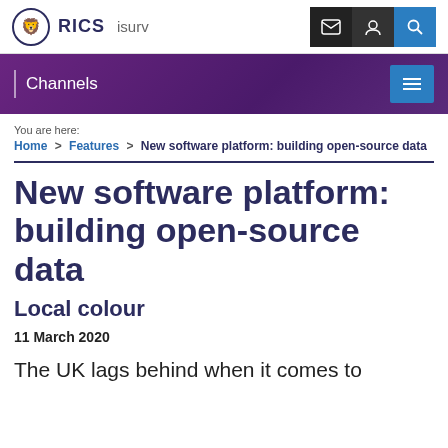RICS isurv — navigation bar with email, account, and search icons
Channels
You are here:
Home > Features > New software platform: building open-source data
New software platform: building open-source data
Local colour
11 March 2020
The UK lags behind when it comes to